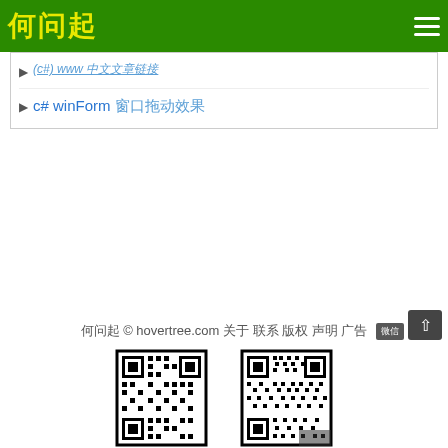何问起
(c#) www 中文文章链接
c# winForm 窗口拖动效果
何问起 © hovertree.com 关于 联系 版权 声明 广告
[Figure (other): Two QR codes side by side at the bottom of the page]